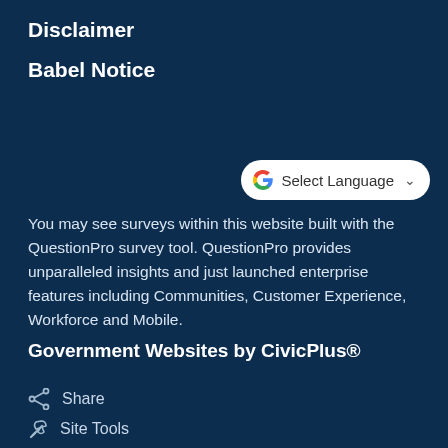Disclaimer
Babel Notice
[Figure (other): Google Translate widget button with 'Select Language' text and dropdown chevron]
You may see surveys within this website built with the QuestionPro survey tool. QuestionPro provides unparalleled insights and just launched enterprise features including Communities, Customer Experience, Workforce and Mobile.
Government Websites by CivicPlus®
Share
Site Tools